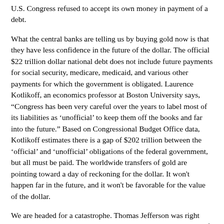U.S. Congress refused to accept its own money in payment of a debt.
What the central banks are telling us by buying gold now is that they have less confidence in the future of the dollar. The official $22 trillion dollar national debt does not include future payments for social security, medicare, medicaid, and various other payments for which the government is obligated. Laurence Kotlikoff, an economics professor at Boston University says, “Congress has been very careful over the years to label most of its liabilities as 'unofficial' to keep them off the books and far into the future.” Based on Congressional Budget Office data, Kotlikoff estimates there is a gap of $202 trillion between the 'official' and 'unofficial' obligations of the federal government, but all must be paid. The worldwide transfers of gold are pointing toward a day of reckoning for the dollar. It won't happen far in the future, and it won't be favorable for the value of the dollar.
We are headed for a catastrophe. Thomas Jefferson was right when he wrote: “There does not exist an engine so corruptive of the government and so demoralizing of the